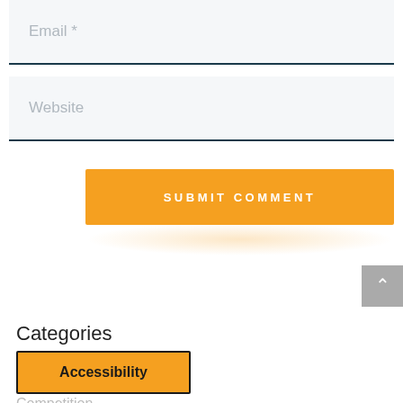Email *
Website
SUBMIT COMMENT
Categories
Accessibility
Competition
Content Marketing